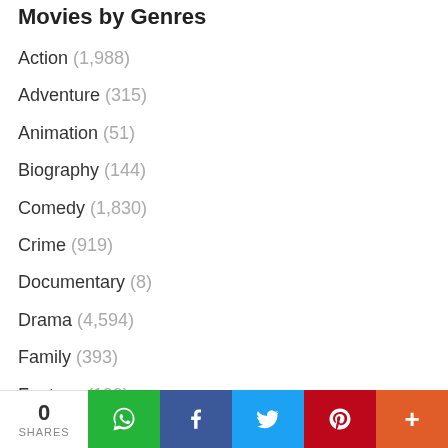Movies by Genres
Action (1,988)
Adventure (315)
Animation (51)
Biography (144)
Comedy (1,830)
Crime (919)
Documentary (8)
Drama (4,594)
Family (393)
Fantasy (199)
0 SHARES | WhatsApp | Facebook | Twitter | Pinterest | More